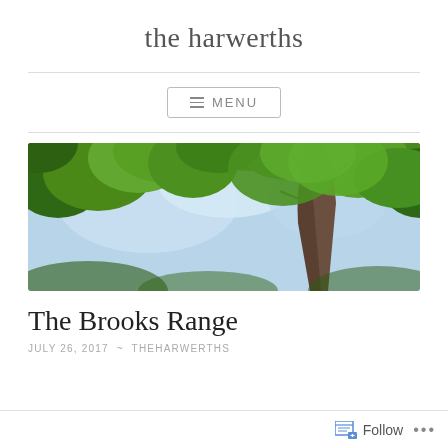the harwerths
[Figure (photo): Upward-looking photograph of tall trees with green leafy canopy against a light blue sky; a tree trunk is visible on the right side.]
The Brooks Range
JULY 26, 2017 ~ THEHARWERTHS